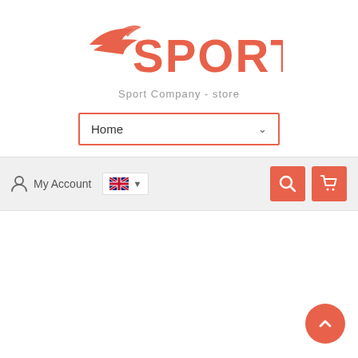[Figure (logo): Sport Company logo with orange wing icon and SPORT text in orange, tagline 'Sport Company - store' in gray]
[Figure (screenshot): Navigation dropdown selector showing 'Home' with orange border and chevron]
[Figure (screenshot): Toolbar with My Account link, UK flag language selector, search icon and cart icon buttons in orange]
[Figure (screenshot): Back to top button, circular orange with upward chevron, bottom right corner]